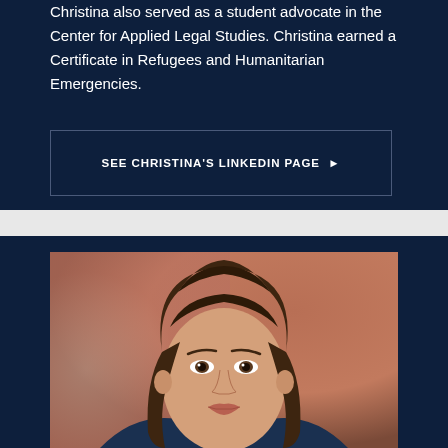Christina also served as a student advocate in the Center for Applied Legal Studies. Christina earned a Certificate in Refugees and Humanitarian Emergencies.
SEE CHRISTINA'S LINKEDIN PAGE ▶
[Figure (photo): Headshot photo of a young woman with long brown hair against a warm brownish-orange blurred background, with a purple 'PROFILE' label badge overlaid in the top-left corner of the image.]